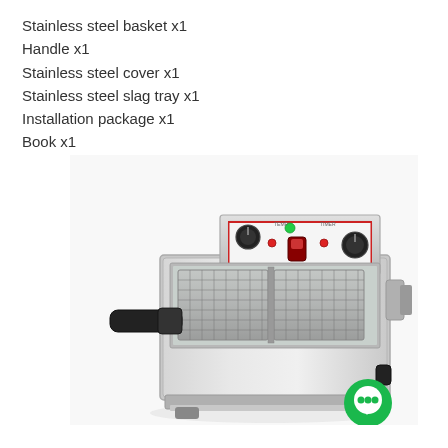Stainless steel basket x1
Handle x1
Stainless steel cover x1
Stainless steel slag tray x1
Installation package x1
Book x1
[Figure (photo): Commercial stainless steel electric deep fryer with two wire mesh baskets with black handles, control panel with two knobs, red and green indicator lights, and a toggle switch on the front face.]